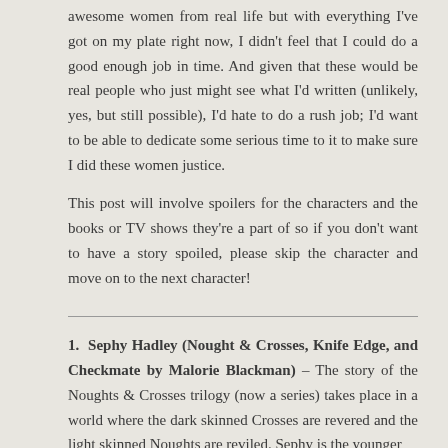awesome women from real life but with everything I've got on my plate right now, I didn't feel that I could do a good enough job in time. And given that these would be real people who just might see what I'd written (unlikely, yes, but still possible), I'd hate to do a rush job; I'd want to be able to dedicate some serious time to it to make sure I did these women justice.
This post will involve spoilers for the characters and the books or TV shows they're a part of so if you don't want to have a story spoiled, please skip the character and move on to the next character!
1. Sephy Hadley (Nought & Crosses, Knife Edge, and Checkmate by Malorie Blackman) – The story of the Noughts & Crosses trilogy (now a series) takes place in a world where the dark skinned Crosses are revered and the light skinned Noughts are reviled. Sephy is the younger